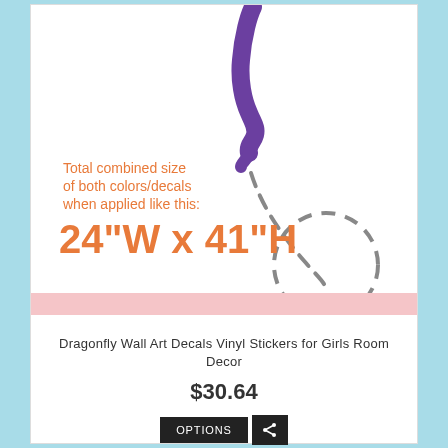[Figure (illustration): Product image showing a dragonfly decal with purple body/tail swooping down from top, dashed curved path showing trajectory, and a dashed circle at bottom representing where it lands, on a white background with pink floor strip. Text overlay shows size information: 'Total combined size of both colors/decals when applied like this:' and '24"W x 41"H' in orange.]
Dragonfly Wall Art Decals Vinyl Stickers for Girls Room Decor
$30.64
OPTIONS